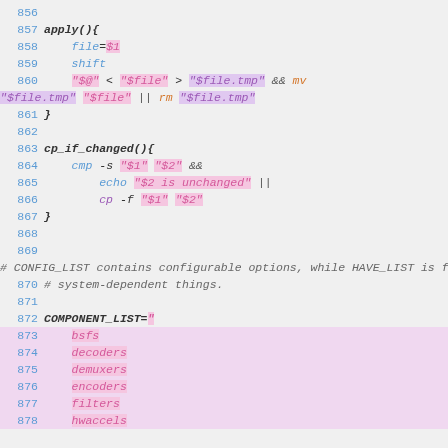Source code listing lines 856-878, shell script with apply() and cp_if_changed() functions and COMPONENT_LIST variable